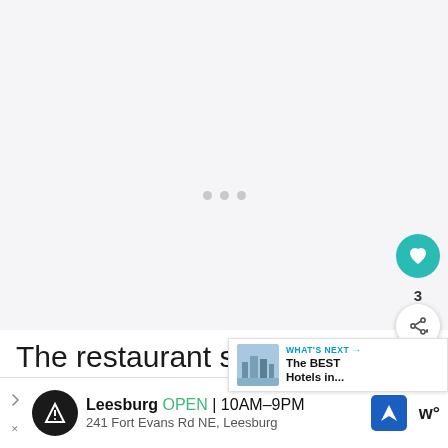[Figure (photo): Large image area with loading indicator (three gray dots) on a light gray background. A teal heart/favorite button and share button with count '3' overlaid on the right side.]
The restaurant serves a variety of f... including a halal breakfast and Chinese
[Figure (screenshot): WHAT'S NEXT overlay banner showing 'The BEST Hotels in...' with a thumbnail of a city skyline]
[Figure (screenshot): Bottom advertisement bar: Leesburg OPEN 10AM-9PM, 241 Fort Evans Rd NE, Leesburg]